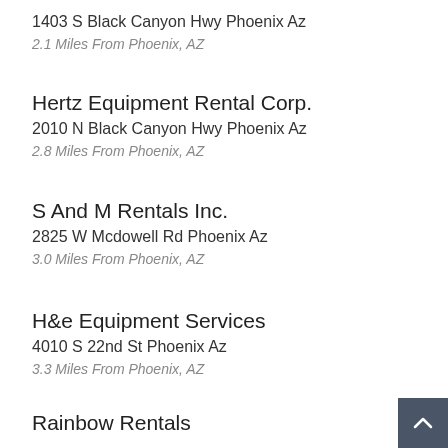1403 S Black Canyon Hwy Phoenix Az
2.1 Miles From Phoenix, AZ
Hertz Equipment Rental Corp.
2010 N Black Canyon Hwy Phoenix Az
2.8 Miles From Phoenix, AZ
S And M Rentals Inc.
2825 W Mcdowell Rd Phoenix Az
3.0 Miles From Phoenix, AZ
H&e Equipment Services
4010 S 22nd St Phoenix Az
3.3 Miles From Phoenix, AZ
Rainbow Rentals